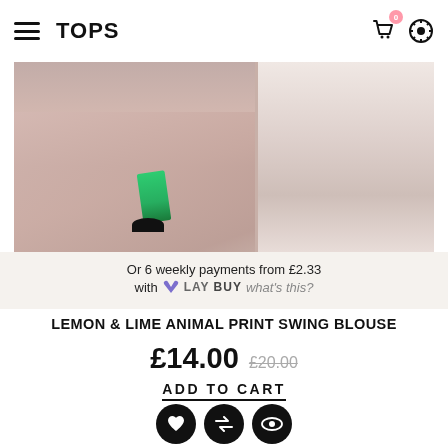TOPS
[Figure (photo): Product photo showing green heeled sandals on a pink fluffy rug near a white ornate mirror frame]
Or 6 weekly payments from £2.33 with LAYBUY what's this?
LEMON & LIME ANIMAL PRINT SWING BLOUSE
£14.00 £20.00
ADD TO CART
[Figure (photo): Product photo showing the lemon and lime animal print swing blouse on a hanger with tropical print fabric visible and a palm leaf in the corner]